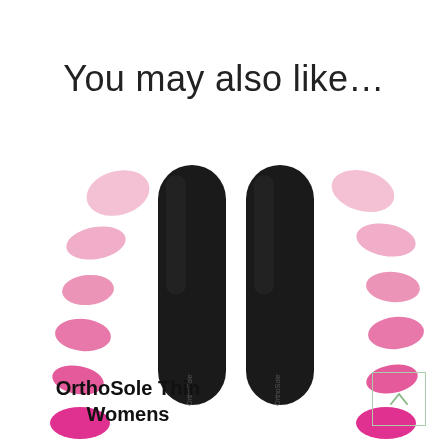You may also like…
[Figure (photo): Two black OrthoSole shoe insoles surrounded by multiple pink gel/silicone cushion pads of various shapes and shades arranged on a white background.]
OrthoSole Thin Womens